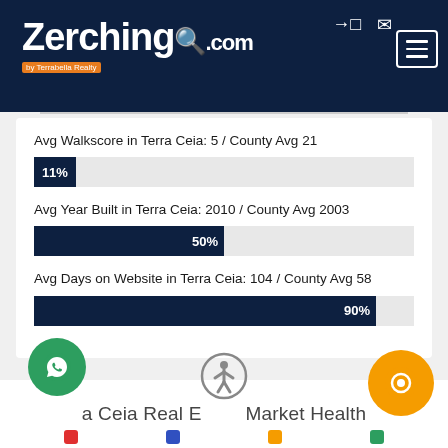[Figure (screenshot): Zerching.com by Terrabella Realty website header with logo and navigation menu button]
Avg Walkscore in Terra Ceia: 5 / County Avg 21
[Figure (bar-chart): Avg Walkscore bar]
Avg Year Built in Terra Ceia: 2010 / County Avg 2003
[Figure (bar-chart): Avg Year Built bar]
Avg Days on Website in Terra Ceia: 104 / County Avg 58
[Figure (bar-chart): Avg Days on Website bar]
a Ceia Real E Market Health